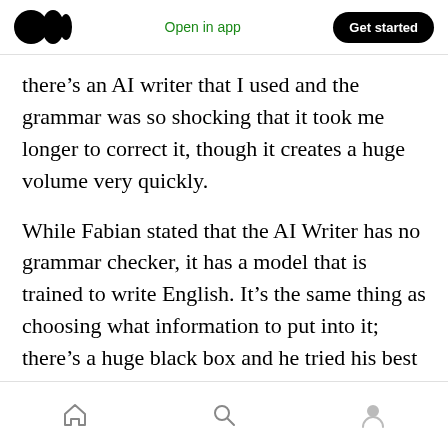Medium logo | Open in app | Get started
there’s an AI writer that I used and the grammar was so shocking that it took me longer to correct it, though it creates a huge volume very quickly.
While Fabian stated that the AI Writer has no grammar checker, it has a model that is trained to write English. It’s the same thing as choosing what information to put into it; there’s a huge black box and he tried his best to train it. He’s still working on it all the time so it’s only getting better and better. But then, in the end, it’s never perfect.
Home | Search | Profile